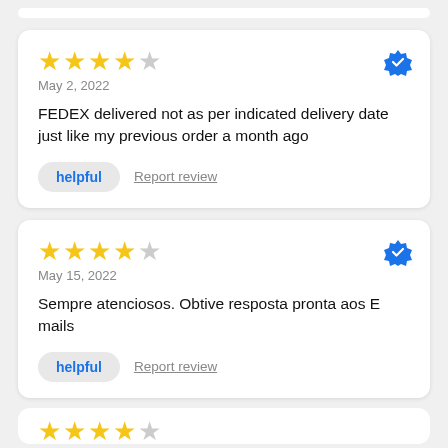[Figure (other): Partial review card top edge visible at top of page]
★★★★☆
May 2, 2022
FEDEX delivered not as per indicated delivery date just like my previous order a month ago
helpful   Report review
★★★★☆
May 15, 2022
Sempre atenciosos. Obtive resposta pronta aos E mails
helpful   Report review
[Figure (other): Partial review card with stars visible at bottom of page]